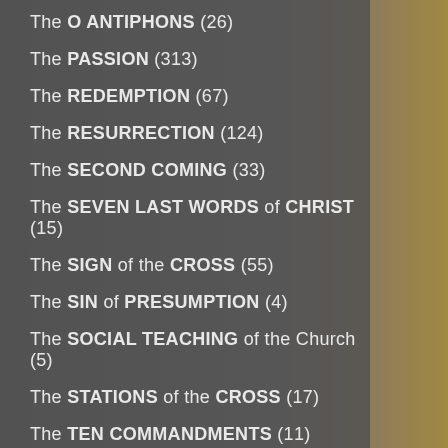The O ANTIPHONS (26)
The PASSION (313)
The REDEMPTION (67)
The RESURRECTION (124)
The SECOND COMING (33)
The SEVEN LAST WORDS of CHRIST (15)
The SIGN of the CROSS (55)
The SIN of PRESUMPTION (4)
The SOCIAL TEACHING of the Church (5)
The STATIONS of the CROSS (17)
The TEN COMMANDMENTS (11)
The TRANSFIGURATION (32)
The UNFORGIVEABLE SIN (3)
The WILL of GOD (170)